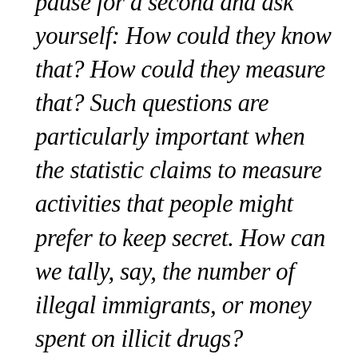pause for a second and ask yourself: How could they know that? How could they measure that? Such questions are particularly important when the statistic claims to measure activities that people might prefer to keep secret. How can we tally, say, the number of illegal immigrants, or money spent on illicit drugs? Oftentimes, even a moment's thought can reveal that an